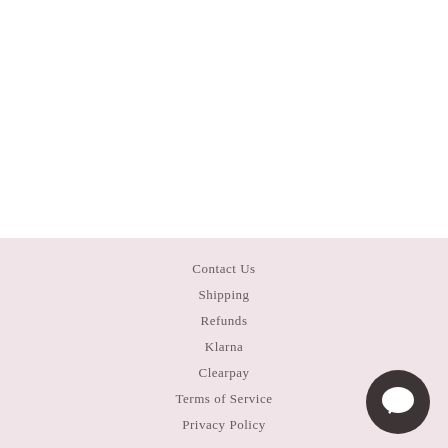Contact Us
Shipping
Refunds
Klarna
Clearpay
Terms of Service
Privacy Policy
[Figure (illustration): Dark gray circular chat bubble icon in bottom-right corner]